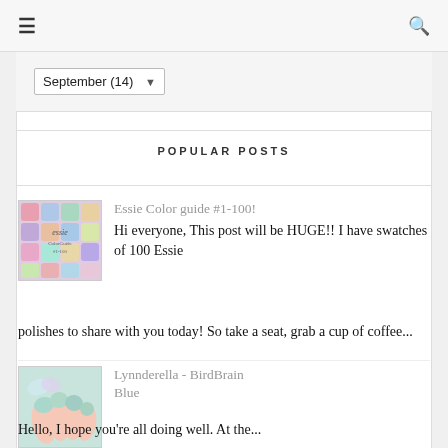≡  🔍
September (14)
POPULAR POSTS
[Figure (photo): Thumbnail image of Essie Color Guide swatches collage with text overlay]
Essie Color guide #1-100!
Hi everyone, This post will be HUGE!! I have swatches of 100 Essie polishes to share with you today! So take a seat, grab a cup of coffee...
[Figure (photo): Thumbnail image of nails painted with Lynnderella BirdBrain Blue polish]
Lynnderella - BirdBrain Blue
Hello, I hope you're all doing well. At the...